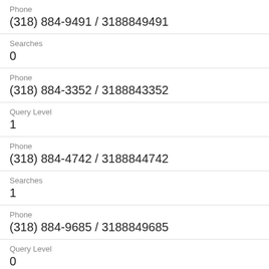Phone
(318) 884-9491 / 3188849491
Searches
0
Phone
(318) 884-3352 / 3188843352
Query Level
1
Phone
(318) 884-4742 / 3188844742
Searches
1
Phone
(318) 884-9685 / 3188849685
Query Level
0
Phone
(318) 884-3682 / 3188843682
Searches